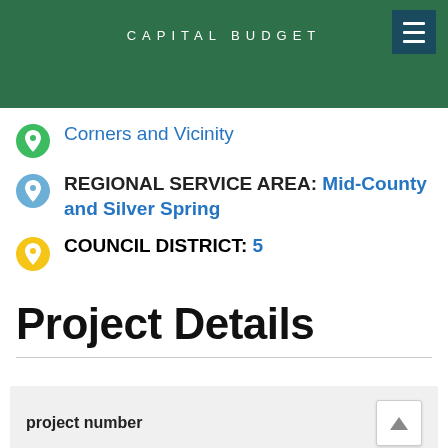CAPITAL BUDGET
Corners and Vicinity
REGIONAL SERVICE AREA: Mid-County and Silver Spring
COUNCIL DISTRICT: 5
Project Details
project number